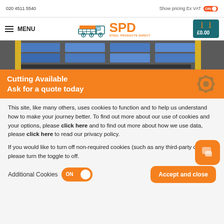020 4511 5540 | Show pricing Ex VAT ON
[Figure (logo): SPD Steel Products Direct logo with truck icon and cart showing £0.00]
[Figure (photo): Steel products stacked in warehouse with orange banner: Cutting Available Ask for a quote today]
This site, like many others, uses cookies to function and to help us understand how to make your journey better. To find out more about our use of cookies and your options, please click here and to find out more about how we use data, please click here to read our privacy policy.
If you would like to turn off non-required cookies (such as any third-party cookies) please turn the toggle to off.
Additional Cookies ON  Accept and close